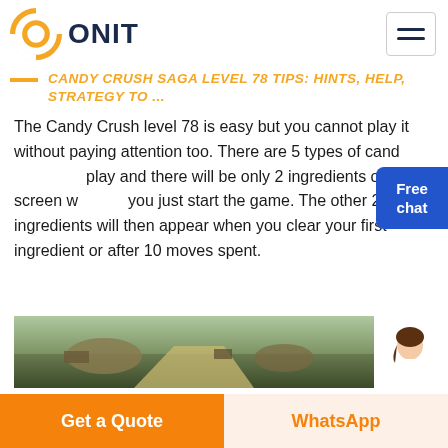[Figure (logo): ONIT logo with orange circular icon and dark navy bold text]
CANDY CRUSH SAGA LEVEL 78 TIPS: HINTS, HELP, STRATEGY TO ...
The Candy Crush level 78 is easy but you cannot play it without paying attention too. There are 5 types of candy play and there will be only 2 ingredients on the screen when you just start the game. The other 2 ingredients will then appear when you clear your first ingredient or after 10 moves spent.
[Figure (photo): Aerial or landscape photo of an open area with dirt road and mounds]
[Figure (infographic): Free chat button widget with blue background and avatar assistant image]